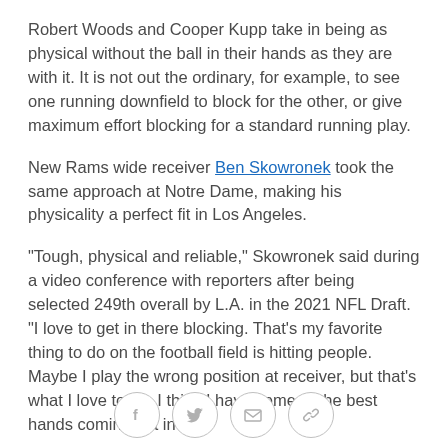Robert Woods and Cooper Kupp take in being as physical without the ball in their hands as they are with it. It is not out the ordinary, for example, to see one running downfield to block for the other, or give maximum effort blocking for a standard running play.
New Rams wide receiver Ben Skowronek took the same approach at Notre Dame, making his physicality a perfect fit in Los Angeles.
"Tough, physical and reliable," Skowronek said during a video conference with reporters after being selected 249th overall by L.A. in the 2021 NFL Draft. "I love to get in there blocking. That's my favorite thing to do on the football field is hitting people. Maybe I play the wrong position at receiver, but that's what I love to do. I think I have some of the best hands coming out in this